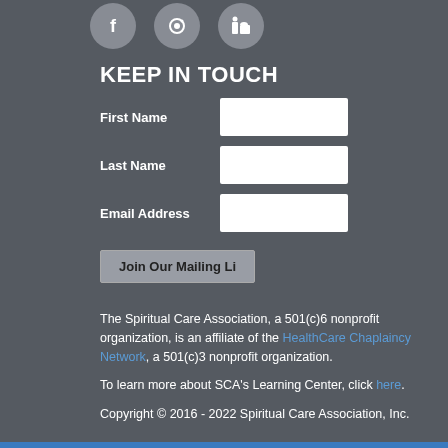[Figure (illustration): Three circular social media icons (Facebook, Instagram/Twitter, LinkedIn) partially visible at top of page, gray circle backgrounds]
KEEP IN TOUCH
First Name [input field]
Last Name [input field]
Email Address [input field]
Join Our Mailing Li [button, text truncated]
The Spiritual Care Association, a 501(c)6 nonprofit organization, is an affiliate of the HealthCare Chaplaincy Network, a 501(c)3 nonprofit organization.
To learn more about SCA's Learning Center, click here.
Copyright © 2016 - 2022 Spiritual Care Association, Inc.